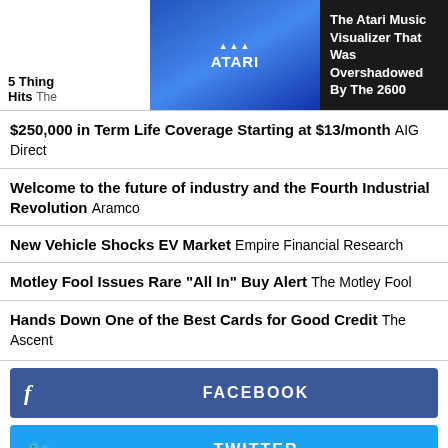[Figure (screenshot): Atari logo on blue background with white ATARI text]
The Atari Music Visualizer That Was Overshadowed By The 2600
5 Things Hits The...
$250,000 in Term Life Coverage Starting at $13/month AIG Direct
Welcome to the future of industry and the Fourth Industrial Revolution Aramco
New Vehicle Shocks EV Market Empire Financial Research
Motley Fool Issues Rare "All In" Buy Alert The Motley Fool
Hands Down One of the Best Cards for Good Credit The Ascent
FACEBOOK
TWITTER
GOOGLE+
LINKEDIN